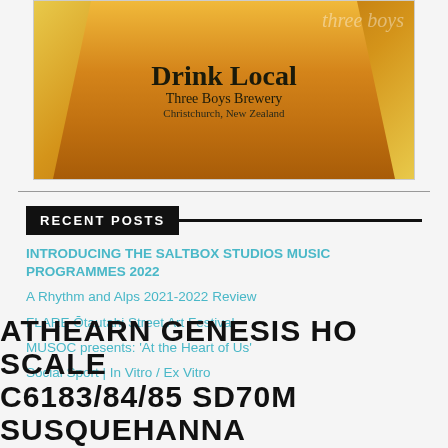[Figure (photo): Beer glass advertisement for Three Boys Brewery with text 'Drink Local, Three Boys Brewery, Christchurch, New Zealand' on an amber/golden background]
RECENT POSTS
INTRODUCING THE SALTBOX STUDIOS MUSIC PROGRAMMES 2022
A Rhythm and Alps 2021-2022 Review
FLARE Ōtautahi Street Art Festival
MUSOC presents: 'At the Heart of Us'
Social Sport | In Vitro / Ex Vitro
ATHEARN GENESIS HO SCALE C6183/84/85 SD70M SUSQUEHANNA